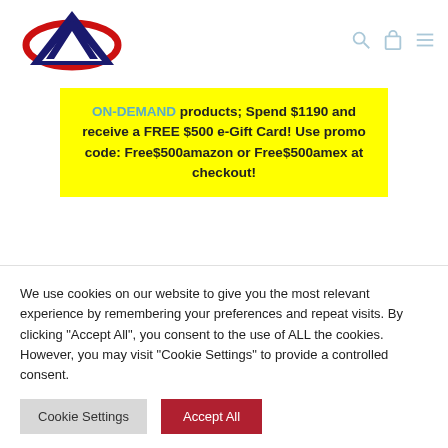[Figure (logo): Company logo with red ellipse, dark blue triangle/arrow shape inside, forming a stylized letter A or chevron mark]
ON-DEMAND products; Spend $1190 and receive a FREE $500 e-Gift Card! Use promo code: Free$500amazon or Free$500amex at checkout!
Category
We use cookies on our website to give you the most relevant experience by remembering your preferences and repeat visits. By clicking “Accept All”, you consent to the use of ALL the cookies. However, you may visit "Cookie Settings" to provide a controlled consent.
Cookie Settings | Accept All